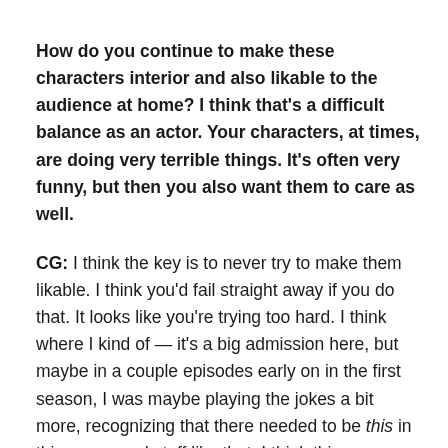How do you continue to make these characters interior and also likable to the audience at home? I think that's a difficult balance as an actor. Your characters, at times, are doing very terrible things. It's often very funny, but then you also want them to care as well.
CG: I think the key is to never try to make them likable. I think you'd fail straight away if you do that. It looks like you're trying too hard. I think where I kind of — it's a big admission here, but maybe in a couple episodes early on in the first season, I was maybe playing the jokes a bit more, recognizing that there needed to be this in this scene and stuff like that. I think this season,